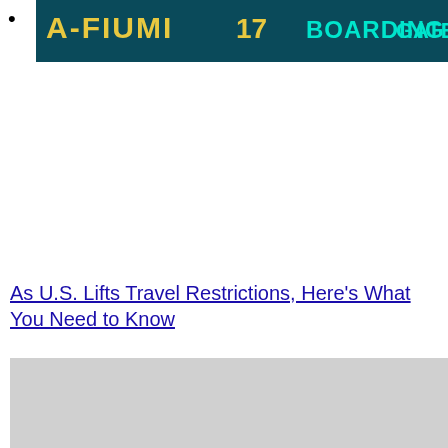[Figure (photo): Airport departure board showing text 'A-FIUMI' and 'BOARDING 17 GATE' in digital display letters on a dark teal background]
As U.S. Lifts Travel Restrictions, Here's What You Need to Know
[Figure (photo): Gray placeholder image below the article title]